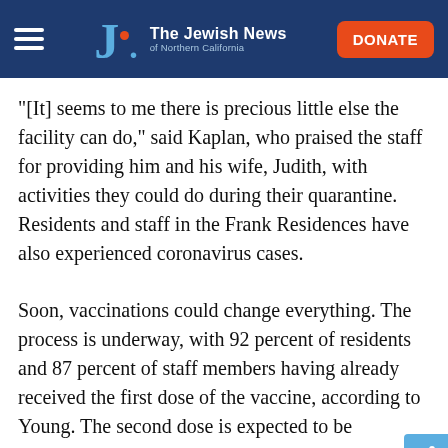The Jewish News of Northern California
“[It] seems to me there is precious little else the facility can do,” said Kaplan, who praised the staff for providing him and his wife, Judith, with activities they could do during their quarantine. Residents and staff in the Frank Residences have also experienced coronavirus cases.
Soon, vaccinations could change everything. The process is underway, with 92 percent of residents and 87 percent of staff members having already received the first dose of the vaccine, according to Young. The second dose is expected to be administered in mid-February.